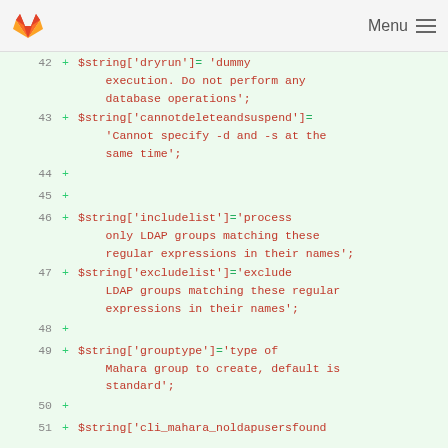GitLab Menu
[Figure (screenshot): GitLab code diff view showing PHP string array assignments for lines 42-51, with additions marked by + signs on a green background]
42 + $string['dryrun']= 'dummy execution. Do not perform any database operations';
43 + $string['cannotdeleteandsuspend']= 'Cannot specify -d and -s at the same time';
44 +
45 +
46 + $string['includelist']='process only LDAP groups matching these regular expressions in their names';
47 + $string['excludelist']='exclude LDAP groups matching these regular expressions in their names';
48 +
49 + $string['grouptype']='type of Mahara group to create, default is standard';
50 +
51 + $string['cli_mahara_noldapusersfound